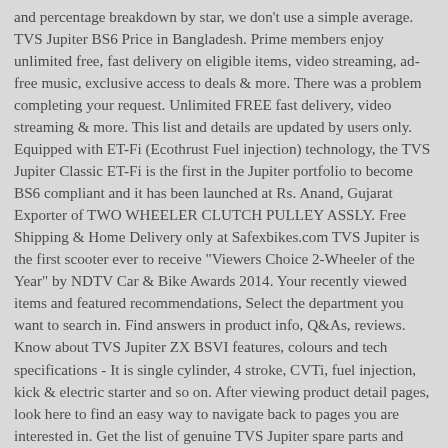and percentage breakdown by star, we don't use a simple average. TVS Jupiter BS6 Price in Bangladesh. Prime members enjoy unlimited free, fast delivery on eligible items, video streaming, ad-free music, exclusive access to deals & more. There was a problem completing your request. Unlimited FREE fast delivery, video streaming & more. This list and details are updated by users only. Equipped with ET-Fi (Ecothrust Fuel injection) technology, the TVS Jupiter Classic ET-Fi is the first in the Jupiter portfolio to become BS6 compliant and it has been launched at Rs. Anand, Gujarat Exporter of TWO WHEELER CLUTCH PULLEY ASSLY. Free Shipping & Home Delivery only at Safexbikes.com TVS Jupiter is the first scooter ever to receive "Viewers Choice 2-Wheeler of the Year" by NDTV Car & Bike Awards 2014. Your recently viewed items and featured recommendations, Select the department you want to search in. Find answers in product info, Q&As, reviews. Know about TVS Jupiter ZX BSVI features, colours and tech specifications - It is single cylinder, 4 stroke, CVTi, fuel injection, kick & electric starter and so on. After viewing product detail pages, look here to find an easy way to navigate back to pages you are interested in. Get the list of genuine TVS Jupiter spare parts and accessories in India, check price list of Silencer Guard, Side Stand, Saree Guard, Drive Belt, Silencer Assly, and other body parts of Jupiter. Please try your search again later. TVS Motor